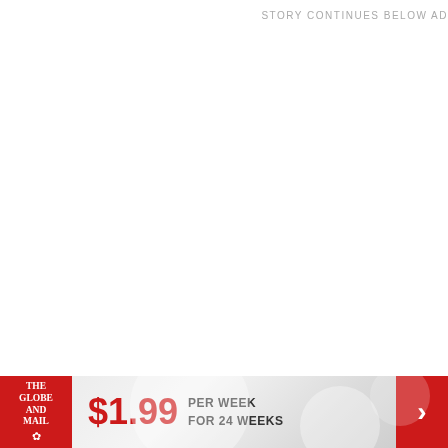STORY CONTINUES BELOW AD
[Figure (infographic): Globe and Mail subscription advertisement banner: logo on left, $1.99 per week for 24 weeks offer, red arrow button on right]